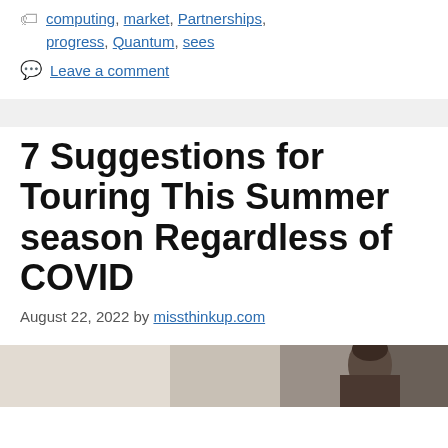computing, market, Partnerships, progress, Quantum, sees
Leave a comment
7 Suggestions for Touring This Summer season Regardless of COVID
August 22, 2022 by missthinkup.com
[Figure (photo): Partial photo of people, likely wearing masks, travel/summer theme]